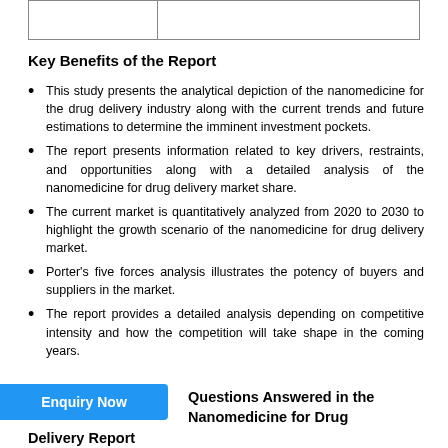|  |  |
| --- | --- |
|  |  |
Key Benefits of the Report
This study presents the analytical depiction of the nanomedicine for the drug delivery industry along with the current trends and future estimations to determine the imminent investment pockets.
The report presents information related to key drivers, restraints, and opportunities along with a detailed analysis of the nanomedicine for drug delivery market share.
The current market is quantitatively analyzed from 2020 to 2030 to highlight the growth scenario of the nanomedicine for drug delivery market.
Porter's five forces analysis illustrates the potency of buyers and suppliers in the market.
The report provides a detailed analysis depending on competitive intensity and how the competition will take shape in the coming years.
Questions Answered in the Nanomedicine for Drug Delivery Report